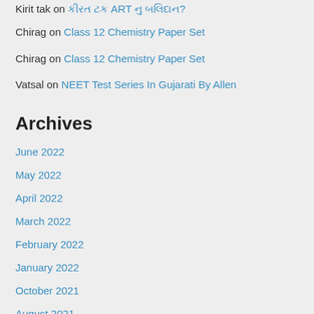Kirit tak on [Gujarati text] ART [Gujarati text]?
Chirag on Class 12 Chemistry Paper Set
Chirag on Class 12 Chemistry Paper Set
Vatsal on NEET Test Series In Gujarati By Allen
Archives
June 2022
May 2022
April 2022
March 2022
February 2022
January 2022
October 2021
August 2021